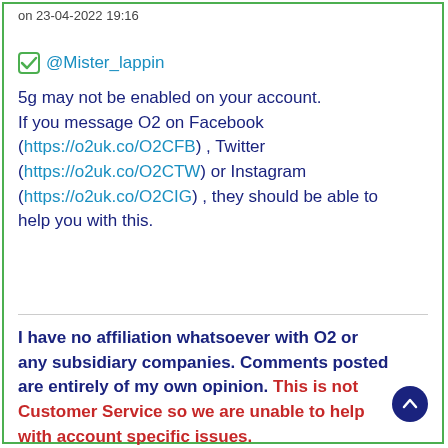on 23-04-2022 19:16
@Mister_lappin
5g may not be enabled on your account. If you message O2 on Facebook (https://o2uk.co/O2CFB) , Twitter (https://o2uk.co/O2CTW) or Instagram (https://o2uk.co/O2CIG) , they should be able to help you with this.
I have no affiliation whatsoever with O2 or any subsidiary companies. Comments posted are entirely of my own opinion. This is not Customer Service so we are unable to help with account specific issues.